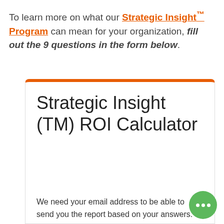To learn more on what our Strategic Insight™ Program can mean for your organization, fill out the 9 questions in the form below.
Strategic Insight (TM) ROI Calculator
We need your email address to be able to send you the report based on your answers.
Sign in to Google to save your progress. Learn more